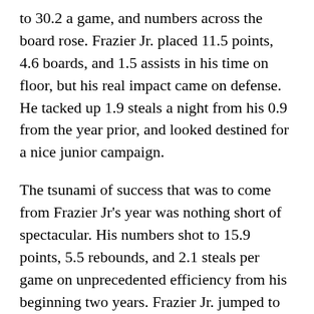to 30.2 a game, and numbers across the board rose. Frazier Jr. placed 11.5 points, 4.6 boards, and 1.5 assists in his time on floor, but his real impact came on defense. He tacked up 1.9 steals a night from his 0.9 from the year prior, and looked destined for a nice junior campaign.
The tsunami of success that was to come from Frazier Jr's year was nothing short of spectacular. His numbers shot to 15.9 points, 5.5 rebounds, and 2.1 steals per game on unprecedented efficiency from his beginning two years. Frazier Jr. jumped to 56% from the field (44% in soph. year,) 39% from deep (26% in his sophomore year,) and 71% from the line (shot 52% in his first year.)
Melvin's year was so decorated he was named to the All-1st S...